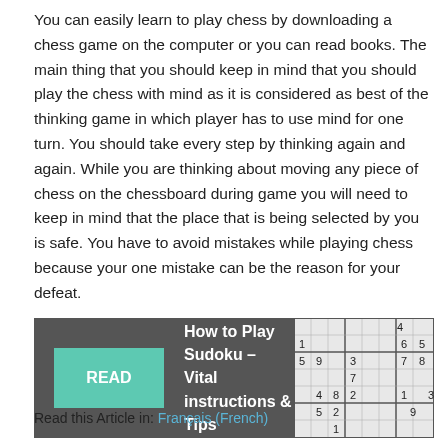You can easily learn to play chess by downloading a chess game on the computer or you can read books. The main thing that you should keep in mind that you should play the chess with mind as it is considered as best of the thinking game in which player has to use mind for one turn. You should take every step by thinking again and again. While you are thinking about moving any piece of chess on the chessboard during game you will need to keep in mind that the place that is being selected by you is safe. You have to avoid mistakes while playing chess because your one mistake can be the reason for your defeat.
[Figure (other): Banner advertisement with dark grey background, teal READ button on left, bold white text 'How to Play Sudoku – Vital instructions & Tips' in center, and a partial sudoku grid on the right]
Read this Article in: Français (French)